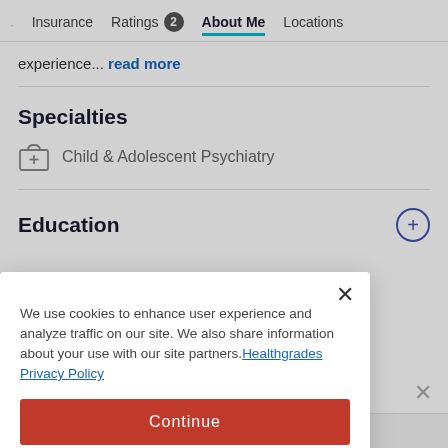Insurance  Ratings 2  About Me  Locations
experience... read more
Specialties
Child & Adolescent Psychiatry
Education
We use cookies to enhance user experience and analyze traffic on our site. We also share information about your use with our site partners. Healthgrades Privacy Policy
Continue
Access my Privacy Preferences